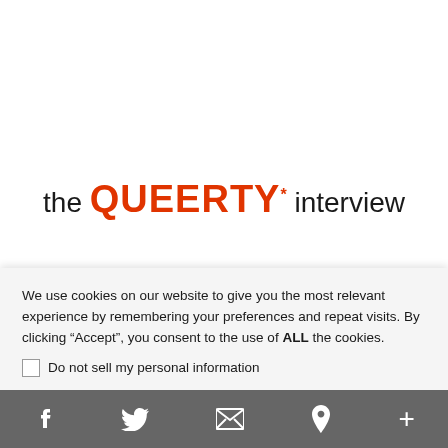[Figure (logo): The Queerty Interview logo — 'the' in dark text, 'QUEERTY' in bold orange, 'interview' in dark text with an orange asterisk superscript]
We use cookies on our website to give you the most relevant experience by remembering your preferences and repeat visits. By clicking “Accept”, you consent to the use of ALL the cookies.
Do not sell my personal information
Cookie Settings
Accept
f    ✉  p  +